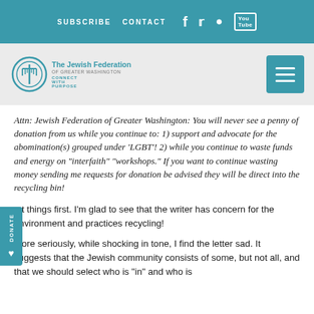SUBSCRIBE  CONTACT  [social icons: Facebook, Twitter, Instagram, YouTube]
[Figure (logo): The Jewish Federation of Greater Washington - Connect With Purpose logo with teal menorah/globe icon]
Attn: Jewish Federation of Greater Washington: You will never see a penny of donation from us while you continue to: 1) support and advocate for the abomination(s) grouped under ‘LGBT’! 2) while you continue to waste funds and energy on “interfaith” “workshops.” If you want to continue wasting money sending me requests for donation be advised they will be direct into the recycling bin!
rst things first. I’m glad to see that the writer has concern for the environment and practices recycling!
More seriously, while shocking in tone, I find the letter sad. It suggests that the Jewish community consists of some, but not all, and that we should select who is “in” and who is